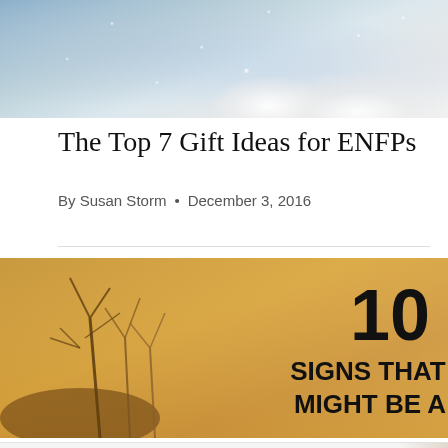[Figure (photo): Top portion of a snowy/wintry scene with dark and light tones, appears to show snow or a wintry background]
The Top 7 Gift Ideas for ENFPs
By Susan Storm • December 3, 2016
[Figure (photo): A golden/warm-toned image of dry plants/branches at sunset with overlaid text reading '10 SIGNS THAT YOU MIGHT BE A...' (partially cropped)]
Lidl Groceries Are Low-Priced · Lidl (advertisement)